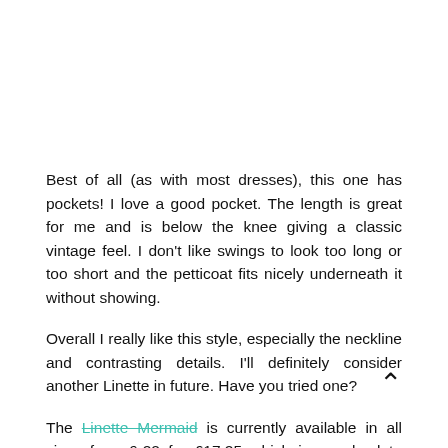Best of all (as with most dresses), this one has pockets! I love a good pocket. The length is great for me and is below the knee giving a classic vintage feel. I don't like swings to look too long or too short and the petticoat fits nicely underneath it without showing.
Overall I really like this style, especially the neckline and contrasting details. I'll definitely consider another Linette in future. Have you tried one?
The Linette Mermaid is currently available in all sizes from 6-22 for £17.25 which is an absolute steal down from £69.99...